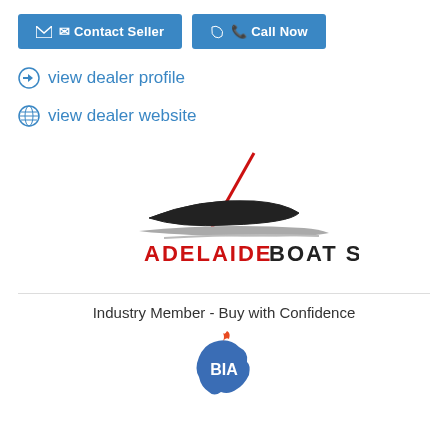Contact Seller
Call Now
view dealer profile
view dealer website
[Figure (logo): Adelaide Boat Sales logo with stylized boat silhouette and red diagonal line]
Industry Member - Buy with Confidence
[Figure (logo): BIA (Boating Industry Association) logo - blue Australia map with BIA text]